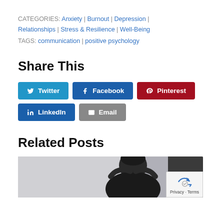CATEGORIES: Anxiety | Burnout | Depression | Relationships | Stress & Resilience | Well-Being
TAGS: communication | positive psychology
Share This
Twitter | Facebook | Pinterest | LinkedIn | Email
Related Posts
[Figure (photo): Person with hands on head in a stressed pose, black and white photo used as related post thumbnail]